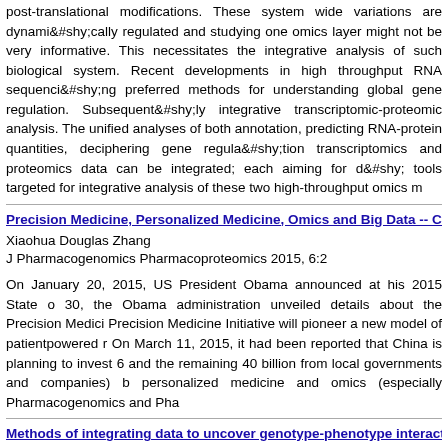post-translational modifications. These system wide variations are dynamically regulated and studying one omics layer might not be very informative. This necessitates the integrative analysis of such multi-omics data to get a holistic view of the biological system. Recent developments in high throughput RNA sequencing (RNA-Seq) has made transcriptomics one of the preferred methods for understanding global gene regulation. Subsequently, there has been a growing interest in the area of integrative transcriptomic-proteomic analysis. The unified analyses of both provide invaluable information for functional annotation, predicting RNA-protein quantities, deciphering gene regulation mechanisms. In this review, the data from transcriptomics and proteomics data can be integrated; each aiming for different objectives. We also describe the computational tools targeted for integrative analysis of these two high-throughput omics methods.
Precision Medicine, Personalized Medicine, Omics and Big Data -- Co...
Xiaohua Douglas Zhang
J Pharmacogenomics Pharmacoproteomics 2015, 6:2
On January 20, 2015, US President Obama announced at his 2015 State of the Union address the Precision Medicine Initiative. On January 30, the Obama administration unveiled details about the Precision Medicine Initiative with a $215 million budget request. The Precision Medicine Initiative will pioneer a new model of patientpowered research that promises to accelerate biomedical discoveries. On March 11, 2015, it had been reported that China is planning to invest 60 billion yuan (about 9 billion US dollars, with 20 billion from central government and the remaining 40 billion from local governments and companies) between 2015 and 2030 in precision medicine (including personalized medicine and omics (especially Pharmacogenomics and Pha...
Methods of integrating data to uncover genotype-phenotype interacti...
Ritchie MD, Holzinger ER, Li R, Pendergrass SA, Kim D
Nat Rev Genet. 2015 16(2): 85-97
Recent technological advances have expanded the breadth of available genomic, transcriptomic, epigenomic, proteomic, and metabolomic data. A key goal of analyses of these data is the identification of causal genomic drivers of complex disease, discovering disease biomarkers and generating important insights into the genetic underpinnings of complex disease. In this Review, we introduce and evaluate strategies to fully harness the utility of these comprehensive high-throughput data sets for understanding complex disease. In this Review, we explore the emerging approaches for data integration - includ... the role of genetics and genomics in complex outcomes. With the use...